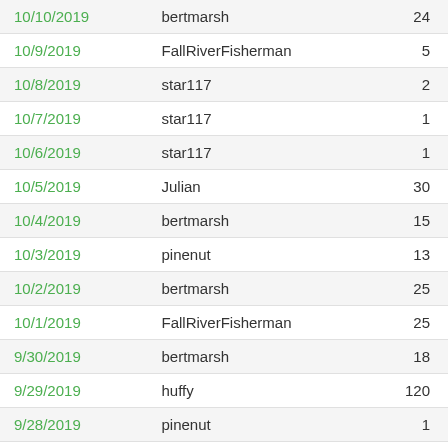| Date | User | Count |
| --- | --- | --- |
| 10/10/2019 | bertmarsh | 24 |
| 10/9/2019 | FallRiverFisherman | 5 |
| 10/8/2019 | star117 | 2 |
| 10/7/2019 | star117 | 1 |
| 10/6/2019 | star117 | 1 |
| 10/5/2019 | Julian | 30 |
| 10/4/2019 | bertmarsh | 15 |
| 10/3/2019 | pinenut | 13 |
| 10/2/2019 | bertmarsh | 25 |
| 10/1/2019 | FallRiverFisherman | 25 |
| 9/30/2019 | bertmarsh | 18 |
| 9/29/2019 | huffy | 120 |
| 9/28/2019 | pinenut | 1 |